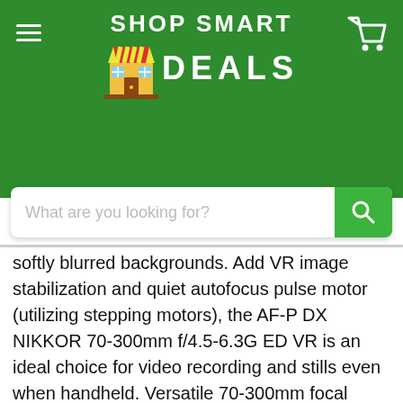SHOP SMART DEALS
softly blurred backgrounds. Add VR image stabilization and quiet autofocus pulse motor (utilizing stepping motors), the AF-P DX NIKKOR 70-300mm f/4.5-6.3G ED VR is an ideal choice for video recording and stills even when handheld. Versatile 70-300mm focal length The AF-P DX NIKKOR 70-300mm f/4.5-6.3G ED VR is a phenomenal second lens and picks up where your 18-55mm lens leaves off. Compact and lightweight yet with a powerful zoom, it will help bring the most distant subjects into focus. Capture stunning close-ups of sports, wildlife, concerts, school events and so much more. Outstanding Nikon image quality Unleash the potential of your camera's high-resolution sensor. The AF-P